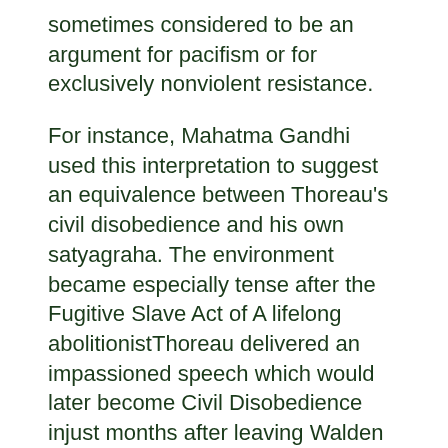sometimes considered to be an argument for pacifism or for exclusively nonviolent resistance.
For instance, Mahatma Gandhi used this interpretation to suggest an equivalence between Thoreau's civil disobedience and his own satyagraha. The environment became especially tense after the Fugitive Slave Act of A lifelong abolitionistThoreau delivered an impassioned speech which would later become Civil Disobedience injust months after leaving Walden Pond.
The speech dealt with slavery, but at the same time excoriated American imperialismparticularly the Mexican—American War. Democracy is no cure for this, as majorities simply by virtue of being majorities do not also gain the virtues of wisdom and justice.
The judgment of an individual's conscience is not necessarily inferior to the decisions of a political body or